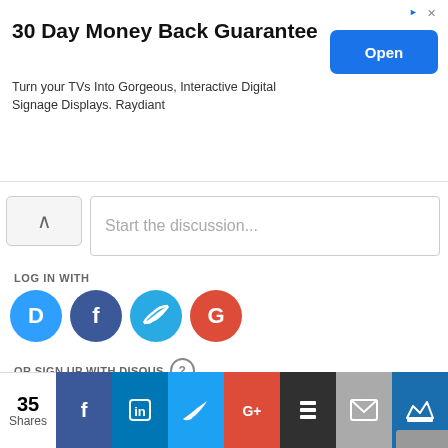[Figure (screenshot): Advertisement banner: '30 Day Money Back Guarantee' with blue Open button]
Start the discussion...
LOG IN WITH
[Figure (infographic): Social login icons: Disqus (blue), Facebook (dark blue), Twitter (light blue), Google (red)]
OR SIGN UP WITH DISQUS
Name
Be the first to comment.
[Figure (infographic): Social share bar with 35 Shares, Facebook, LinkedIn, Twitter, Google+, Buffer, Email, and King share buttons]